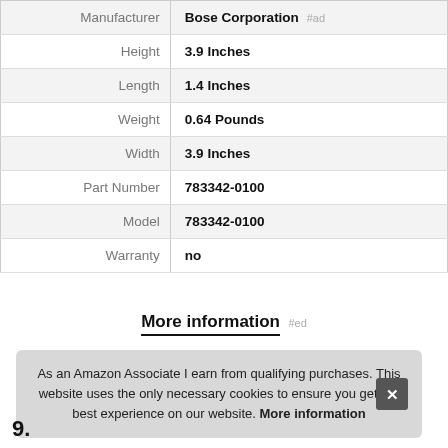| Attribute | Value |
| --- | --- |
| Manufacturer | Bose Corporation #ad |
| Height | 3.9 Inches |
| Length | 1.4 Inches |
| Weight | 0.64 Pounds |
| Width | 3.9 Inches |
| Part Number | 783342-0100 |
| Model | 783342-0100 |
| Warranty | no |
More information #ed
As an Amazon Associate I earn from qualifying purchases. This website uses the only necessary cookies to ensure you get the best experience on our website. More information